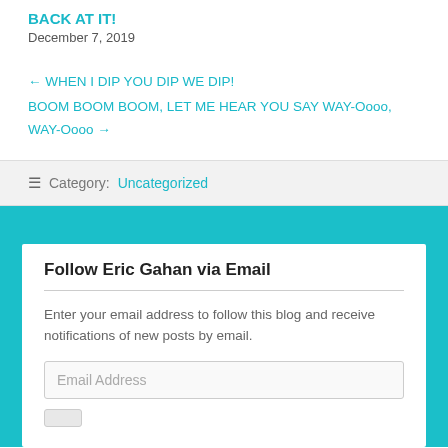BACK AT IT!
December 7, 2019
← WHEN I DIP YOU DIP WE DIP!
BOOM BOOM BOOM, LET ME HEAR YOU SAY WAY-Oooo, WAY-Oooo →
Category: Uncategorized
Follow Eric Gahan via Email
Enter your email address to follow this blog and receive notifications of new posts by email.
Email Address